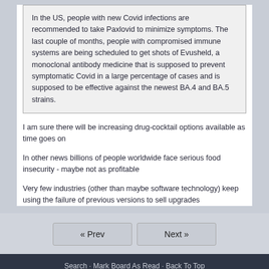In the US, people with new Covid infections are recommended to take Paxlovid to minimize symptoms. The last couple of months, people with compromised immune systems are being scheduled to get shots of Evusheld, a monoclonal antibody medicine that is supposed to prevent symptomatic Covid in a large percentage of cases and is supposed to be effective against the newest BA.4 and BA.5 strains.
I am sure there will be increasing drug-cocktail options available as time goes on
In other news billions of people worldwide face serious food insecurity - maybe not as profitable
Very few industries (other than maybe software technology) keep using the failure of previous versions to sell upgrades
« Prev   Next »   Search · Mark Board As Read · Back To Top   Get the free IP.Board App for iPhone now!